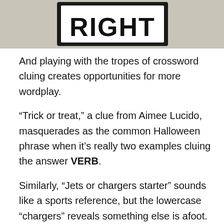[Figure (photo): A street sign reading 'RIGHT' in black letters on a white rectangular sign with a black border, mounted on a green post, partially cropped at top.]
And playing with the tropes of crossword cluing creates opportunities for more wordplay.
“Trick or treat,” a clue from Aimee Lucido, masquerades as the common Halloween phrase when it’s really two examples cluing the answer VERB.
Similarly, “Jets or chargers starter” sounds like a sports reference, but the lowercase “chargers” reveals something else is afoot. The answer to this clue (which appeared in a puzzle constructed by Craig Mazan and Jeff Chen) is TURBO.
Erin Rhode’s “Drum, for some” sounds like a simple example-style clue, but the answer RHYME reveals how